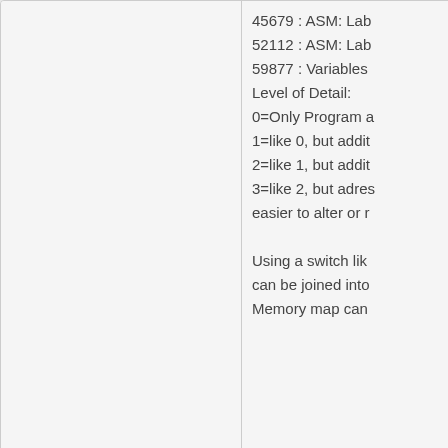45679 : ASM: Lab...
52112 : ASM: Lab...
59877 : Variables...
Level of Detail:
0=Only Program a...
1=like 0, but addit...
2=like 1, but addit...
3=like 2, but adres...
easier to alter or r...

Using a switch lik...
can be joined into...
Memory map can...
Found another bug (*solved*)
Hi Boriel,